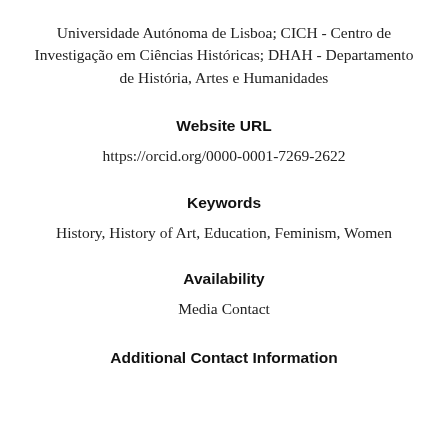Universidade Autónoma de Lisboa; CICH - Centro de Investigação em Ciências Históricas; DHAH - Departamento de História, Artes e Humanidades
Website URL
https://orcid.org/0000-0001-7269-2622
Keywords
History, History of Art, Education, Feminism, Women
Availability
Media Contact
Additional Contact Information